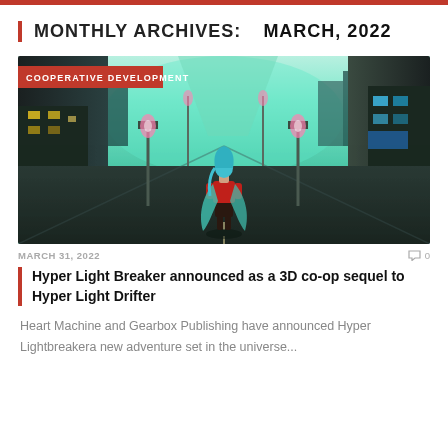MONTHLY ARCHIVES: MARCH, 2022
[Figure (screenshot): Hyper Light Breaker game screenshot showing a colorful cyberpunk city street with a character standing in the middle, teal/cyan aesthetic with neon lights. Badge overlay: COOPERATIVE DEVELOPMENT]
MARCH 31, 2022
0
Hyper Light Breaker announced as a 3D co-op sequel to Hyper Light Drifter
Heart Machine and Gearbox Publishing have announced Hyper Lightbreakera new adventure set in the universe...